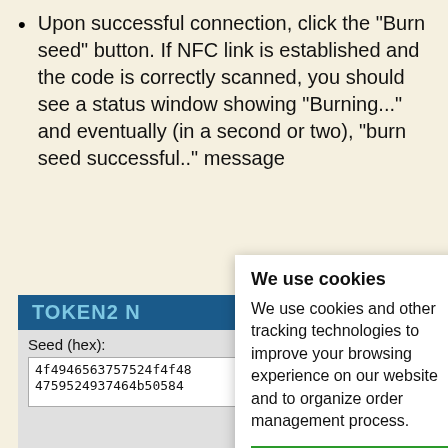Upon successful connection, click the "Burn seed" button. If NFC link is established and the code is correctly scanned, you should see a status window showing "Burning..." and eventually (in a second or two), "burn seed successful.." message
[Figure (screenshot): Screenshot of TOKEN2 NFC tool application showing seed input field with hex value '4f4946563757524f4f48...4759524937464b50584...' and connect/burn buttons, with a Burning... status indicator at the bottom]
We use cookies
We use cookies and other tracking technologies to improve your browsing experience on our website and to organize order management process.
[I agree] [Change preferences]